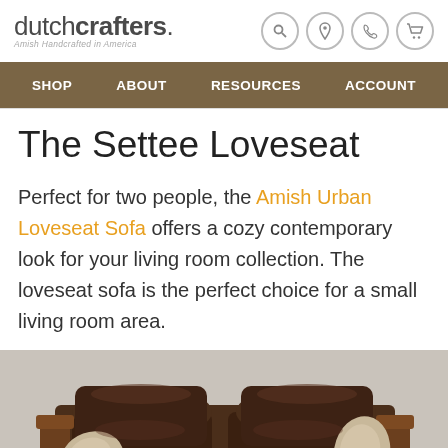dutchcrafters. Amish Handcrafted in America
SHOP   ABOUT   RESOURCES   ACCOUNT
The Settee Loveseat
Perfect for two people, the Amish Urban Loveseat Sofa offers a cozy contemporary look for your living room collection. The loveseat sofa is the perfect choice for a small living room area.
[Figure (photo): Photo of a dark brown leather loveseat sofa with wooden armrests and tan/beige accent pillows on each side.]